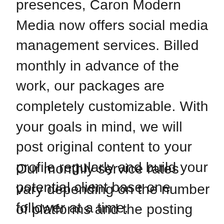presences, Caron Modern Media now offers social media management services. Billed monthly in advance of the work, our packages are completely customizable. With your goals in mind, we will post original content to your profile regularly and build your potential client base one follower at a time.
Our monthly service rates vary depending on the number of platforms and the posting frequency. To get a custom social